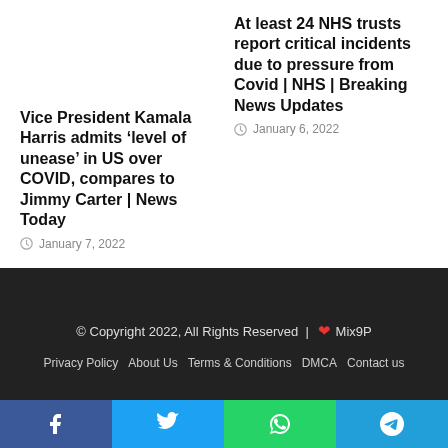At least 24 NHS trusts report critical incidents due to pressure from Covid | NHS | Breaking News Updates
January 6, 2022
Vice President Kamala Harris admits ‘level of unease’ in US over COVID, compares to Jimmy Carter | News Today
January 7, 2022
© Copyright 2022, All Rights Reserved | ♥ Mix9P
Privacy Policy   About Us   Terms & Conditions   DMCA   Contact us